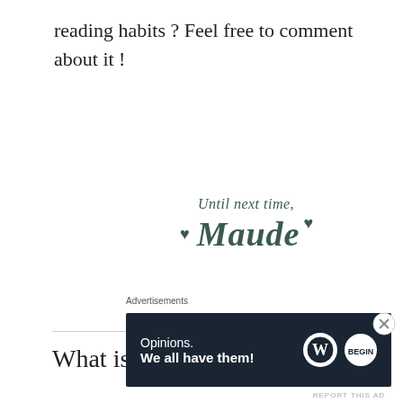reading habits ? Feel free to comment about it !
[Figure (illustration): Handwritten-style signature reading 'Until next time, ♥ Maude ♥' in dark teal script]
What is, actually, YA ?
Advertisements
[Figure (other): WordPress advertisement banner: 'Opinions. We all have them!' with WordPress and Begin logo icons on dark navy background]